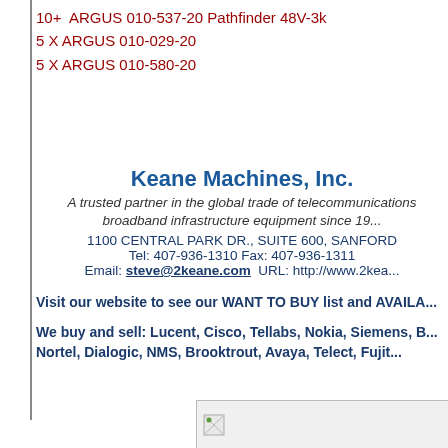10+  ARGUS 010-537-20 Pathfinder 48V-3k
5 X ARGUS 010-029-20
5 X ARGUS 010-580-20
Keane Machines, Inc.
A trusted partner in the global trade of telecommunications broadband infrastructure equipment since 19...
1100 CENTRAL PARK DR., SUITE 600, SANFORD
Tel: 407-936-1310 Fax: 407-936-1311
Email: steve@2keane.com  URL: http://www.2kea...
Visit our website to see our WANT TO BUY list and AVAILA...
We buy and sell: Lucent, Cisco, Tellabs, Nokia, Siemens, B... Nortel, Dialogic, NMS, Brooktrout, Avaya, Telect, Fujit...
[Figure (other): Small broken image icon in a box at bottom right]